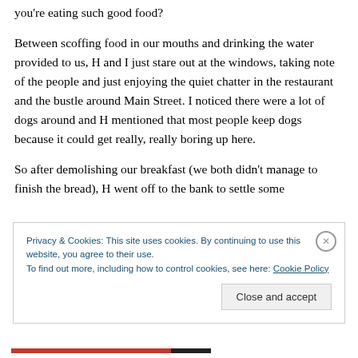you're eating such good food?
Between scoffing food in our mouths and drinking the water provided to us, H and I just stare out at the windows, taking note of the people and just enjoying the quiet chatter in the restaurant and the bustle around Main Street. I noticed there were a lot of dogs around and H mentioned that most people keep dogs because it could get really, really boring up here.
So after demolishing our breakfast (we both didn't manage to finish the bread), H went off to the bank to settle some
Privacy & Cookies: This site uses cookies. By continuing to use this website, you agree to their use.
To find out more, including how to control cookies, see here: Cookie Policy